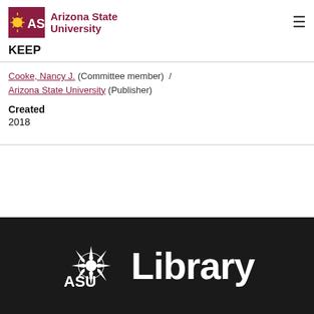[Figure (logo): Arizona State University logo with maroon ASU letters and sun icon, next to text 'Arizona State University']
KEEP
Cooke, Nancy J. (Committee member) / Arizona State University (Publisher)
Created
2018
[Figure (logo): ASU Library logo in white on black background]